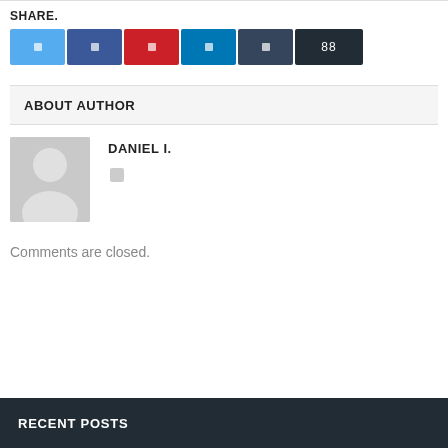SHARE.
[Figure (infographic): Row of social share buttons: Twitter (light blue), Facebook (dark blue), Pinterest (red), LinkedIn (medium blue), Tumblr (dark slate blue), counter showing 88 (dark charcoal)]
ABOUT AUTHOR
[Figure (photo): Generic user avatar silhouette on grey background]
DANIEL I.
Comments are closed.
RECENT POSTS